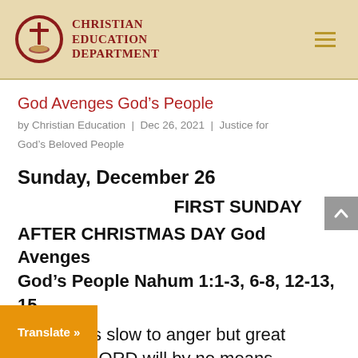Christian Education Department
God Avenges God’s People
by Christian Education | Dec 26, 2021 | Justice for God’s Beloved People
Sunday, December 26
FIRST SUNDAY
AFTER CHRISTMAS DAY God Avenges God’s People Nahum 1:1-3, 6-8, 12-13, 15
…LORD is slow to anger but great …nd the LORD will by no means